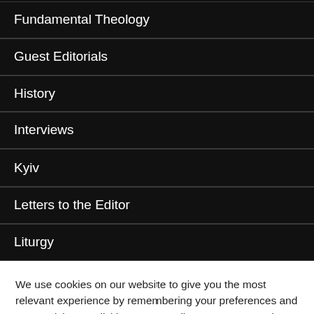Fundamental Theology
Guest Editorials
History
Interviews
Kyiv
Letters to the Editor
Liturgy
We use cookies on our website to give you the most relevant experience by remembering your preferences and repeat visits. By clicking “Accept All”, you consent to the use of ALL the cookies. However, you may visit "Cookie Settings" to provide a controlled consent.
Cookie Settings | Accept All